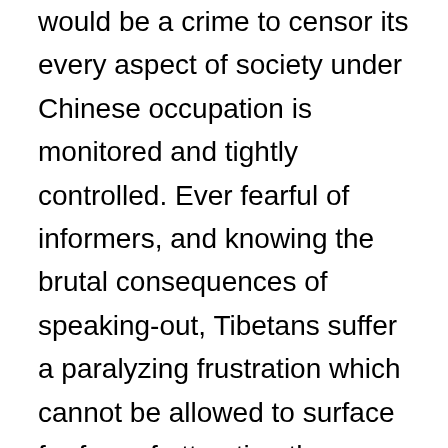would be a crime to censor its every aspect of society under Chinese occupation is monitored and tightly controlled. Ever fearful of informers, and knowing the brutal consequences of speaking-out, Tibetans suffer a paralyzing frustration which cannot be allowed to surface for fear of attracting the unwelcome attention of the communist Chinese authorities. For the majority there exists an almost permanent state-of-terror, knowing that at any time homes can be raided, arrests made, followed by torture and on many occasions execution. Yet for the tourist vultures who descend upon Tibet during the summer months signs of this burden are seldom seen, instead they are faced with the welcoming smiles of a genuinely warm and kind people. Such a greeting reinforces the reputation of Tibetans as a robust and happy people, however behind closed doors, away from the rapacious camcorders of foreign intrusion, an